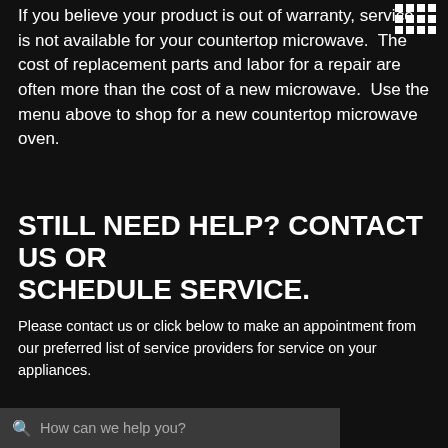If you believe your product is out of warranty, service is not available for your countertop microwave. The cost of replacement parts and labor for a repair are often more than the cost of a new microwave. Use the menu above to shop for a new countertop microwave oven.
STILL NEED HELP? CONTACT US OR SCHEDULE SERVICE.
Please contact us or click below to make an appointment from our preferred list of service providers for service on your appliances.
United States
SCHEDULE SERVICE
CONTACT US
How can we help you?